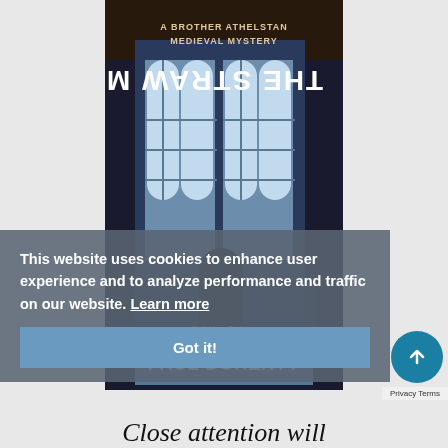[Figure (illustration): Book cover for 'The Straw Men' by Paul Doherty, subtitled 'A Brother Athelstan Medieval Mystery'. Shows a dark robed figure from behind in a gothic arched hall with large stained glass windows. Dark atmospheric imagery.]
This website uses cookies to enhance user experience and to analyze performance and traffic on our website. Learn more
Got it!
Close attention will